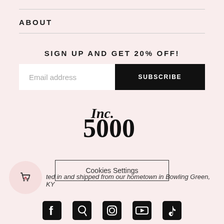ABOUT
SIGN UP AND GET 20% OFF!
Email address
SUBSCRIBE
[Figure (logo): Inc. 5000 logo in bold black serif text]
Cookies Settings
ted in and shipped from our hometown in Bowling Green, KY
[Figure (illustration): Social media icons: Facebook, Pinterest, Instagram, YouTube, TikTok]